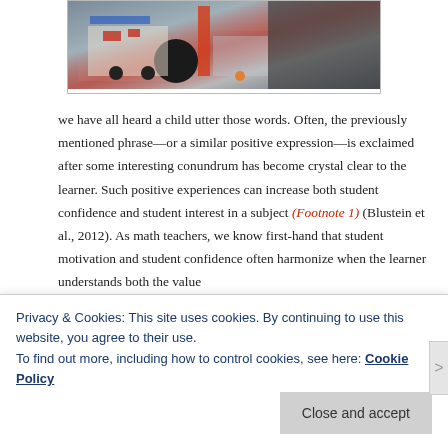[Figure (photo): Overhead view of students working on a robotics or engineering project on a table with colorful components and a board]
we have all heard a child utter those words. Often, the previously mentioned phrase—or a similar positive expression—is exclaimed after some interesting conundrum has become crystal clear to the learner. Such positive experiences can increase both student confidence and student interest in a subject (Footnote 1) (Blustein et al., 2012). As math teachers, we know first-hand that student motivation and student confidence often harmonize when the learner understands both the value
Privacy & Cookies: This site uses cookies. By continuing to use this website, you agree to their use.
To find out more, including how to control cookies, see here: Cookie Policy